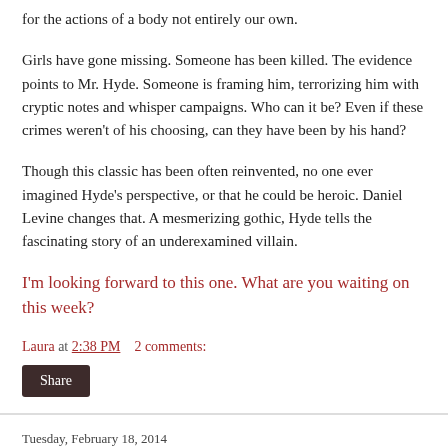for the actions of a body not entirely our own.
Girls have gone missing. Someone has been killed. The evidence points to Mr. Hyde. Someone is framing him, terrorizing him with cryptic notes and whisper campaigns. Who can it be? Even if these crimes weren't of his choosing, can they have been by his hand?
Though this classic has been often reinvented, no one ever imagined Hyde’s perspective, or that he could be heroic. Daniel Levine changes that. A mesmerizing gothic, Hyde tells the fascinating story of an underexamined villain.
I’m looking forward to this one. What are you waiting on this week?
Laura at 2:38 PM    2 comments:
Share
Tuesday, February 18, 2014
Teaser Tuesday - Pirate Vishnu by